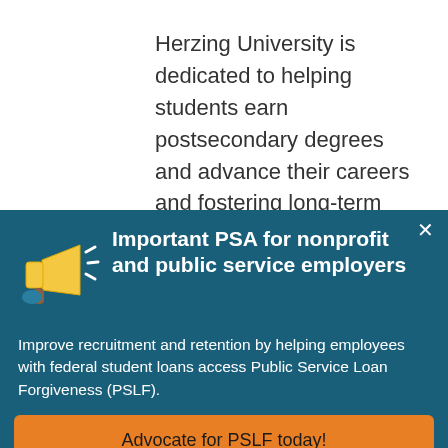Herzing University is dedicated to helping students earn postsecondary degrees and advance their careers and fostering long-term success. As a Public Service Loan Forgiveness (PSLF)-eligible employer with 10 campuses and 1,200 employees across seven states
[Figure (infographic): Dark teal popup overlay with megaphone icon, bold white title 'Important PSA for nonprofit and public service employers', body text about PSLF, and an orange call-to-action button 'Advocate for PSLF today!']